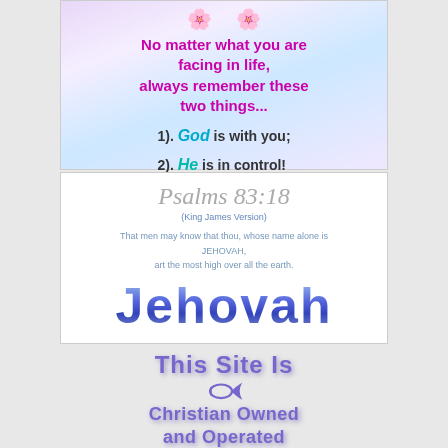[Figure (illustration): Inspirational card with purple/blue gradient background, pink flowers at top, text reading 'No matter what you are facing in life, always remember these two things... 1). God is with you; 2). He is in control!']
[Figure (illustration): Bible verse card: Psalms 83:18 (King James Version) - 'That men may know that thou, whose name alone is JEHOVAH, art the most high over all the earth.' with large blue gradient 'Jehovah' text]
[Figure (illustration): Christian site badge: 'This Site Is' text, purple ichthys fish symbol, 'Christian Owned and Operated' text in purple]